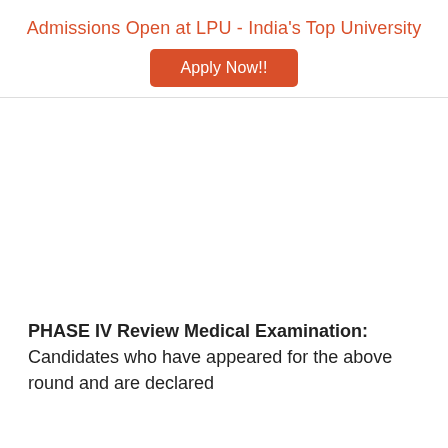Admissions Open at LPU - India's Top University
[Figure (other): Apply Now!! button — orange rounded rectangle with white text]
PHASE IV Review Medical Examination: Candidates who have appeared for the above round and are declared